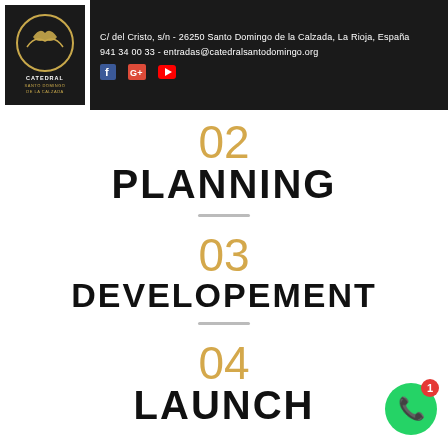C/ del Cristo, s/n - 26250 Santo Domingo de la Calzada, La Rioja, España
941 34 00 33 - entradas@catedralsantodomingo.org
02
PLANNING
03
DEVELOPEMENT
04
LAUNCH